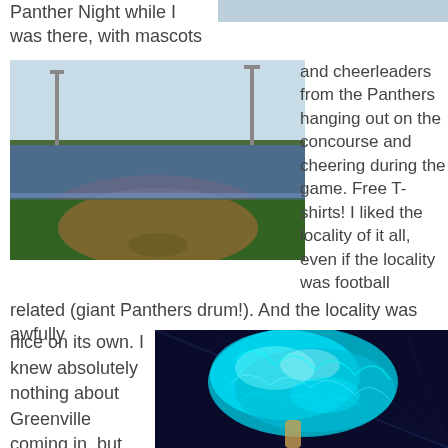Panther Night while I was there, with mascots
[Figure (photo): Partial view of a photo at the top right, partially cropped]
[Figure (photo): Baseball stadium field view from stands, green grass and dirt infield visible, bleachers in background]
and cheerleaders from the Panthers hanging out on the concourse and cheering during the game. Free T-shirts! I liked the locality of it all, even if the locality was football related (giant Panthers drum!). And the locality was awfully nice on its own. I knew absolutely nothing about Greenville coming in, but
[Figure (photo): Teal/cyan pom-pom or decorative item glowing against dark background]